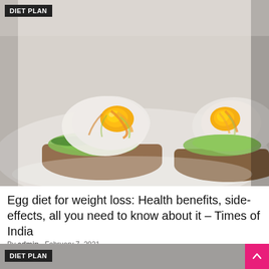[Figure (photo): Close-up food photo of eggs benedict or poached eggs with runny yolk on avocado toast/muffin on a white plate]
DIET PLAN
Egg diet for weight loss: Health benefits, side-effects, all you need to know about it – Times of India
By admin   February 7, 2021
DIET PLAN